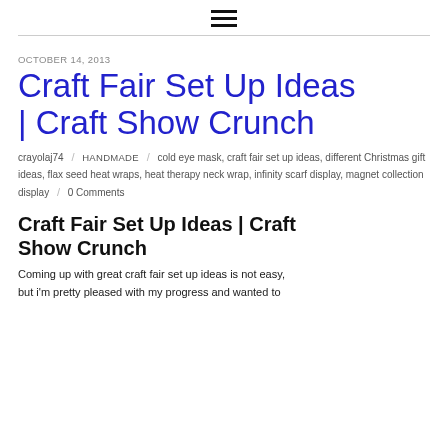≡
OCTOBER 14, 2013
Craft Fair Set Up Ideas | Craft Show Crunch
crayolaj74 / HANDMADE / cold eye mask, craft fair set up ideas, different Christmas gift ideas, flax seed heat wraps, heat therapy neck wrap, infinity scarf display, magnet collection display / 0 Comments
Craft Fair Set Up Ideas | Craft Show Crunch
Coming up with great craft fair set up ideas is not easy, but i'm pretty pleased with my progress and wanted to